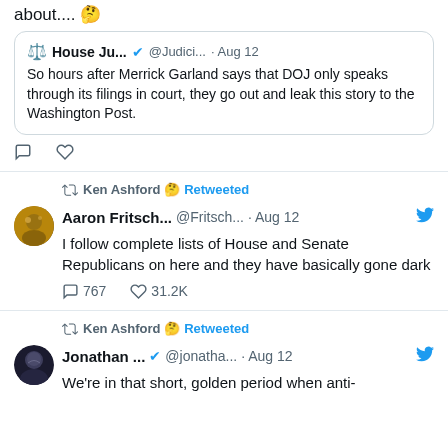about.... 🤔
House Ju... ✓ @Judici... · Aug 12 — So hours after Merrick Garland says that DOJ only speaks through its filings in court, they go out and leak this story to the Washington Post.
Ken Ashford 🤔 Retweeted
Aaron Fritsch... @Fritsch... · Aug 12 — I follow complete lists of House and Senate Republicans on here and they have basically gone dark
767 replies · 31.2K likes
Ken Ashford 🤔 Retweeted
Jonathan ... ✓ @jonatha... · Aug 12 — We're in that short, golden period when anti-